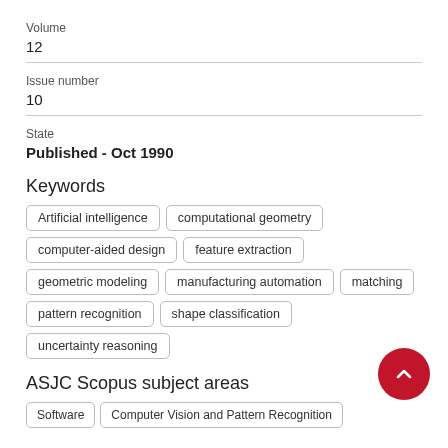Volume
12
Issue number
10
State
Published - Oct 1990
Keywords
Artificial intelligence
computational geometry
computer-aided design
feature extraction
geometric modeling
manufacturing automation
matching
pattern recognition
shape classification
uncertainty reasoning
ASJC Scopus subject areas
Software
Computer Vision and Pattern Recognition